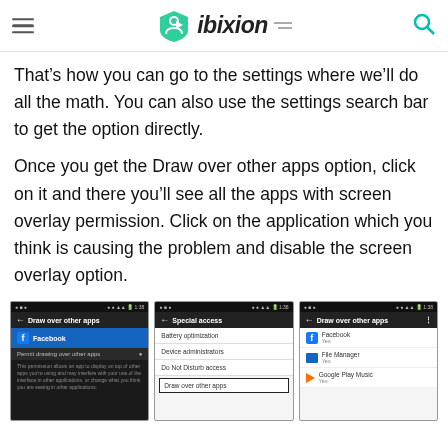ibixion
That’s how you can go to the settings where we’ll do all the math. You can also use the settings search bar to get the option directly.
Once you get the Draw over other apps option, click on it and there you’ll see all the apps with screen overlay permission. Click on the application which you think is causing the problem and disable the screen overlay option.
[Figure (screenshot): Three Android smartphone screenshots showing the Draw over other apps settings screen, Special access screen with Draw over other apps highlighted, and Draw over other apps screen listing Facebook, File Manager, and Google Play Music.]